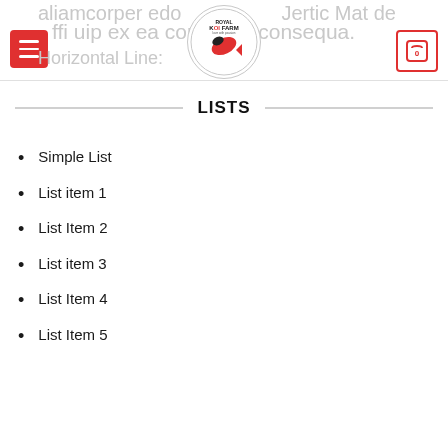aliamcorper edo ... Jertic Mat de
ffi uip ex ea cor... consequa.
Horizontal Line:
[Figure (logo): Royal Koi Farm logo with koi fish illustration in a circle]
LISTS
Simple List
List item 1
List Item 2
List item 3
List Item 4
List Item 5